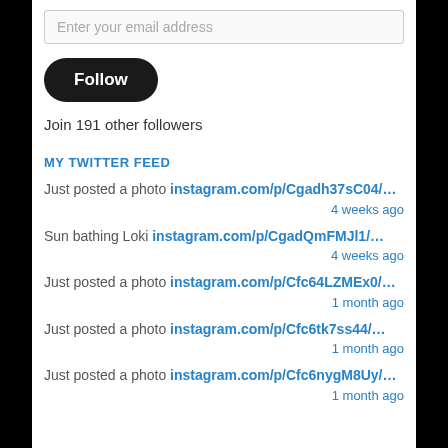Enter your email address
Follow
Join 191 other followers
MY TWITTER FEED
Just posted a photo instagram.com/p/Cgadh37sC04/... 4 weeks ago
Sun bathing Loki instagram.com/p/CgadQmFMJl1/... 4 weeks ago
Just posted a photo instagram.com/p/Cfc64LZMEx0/... 1 month ago
Just posted a photo instagram.com/p/Cfc6tk7ss44/... 1 month ago
Just posted a photo instagram.com/p/Cfc6nygM8Uy/... 1 month ago